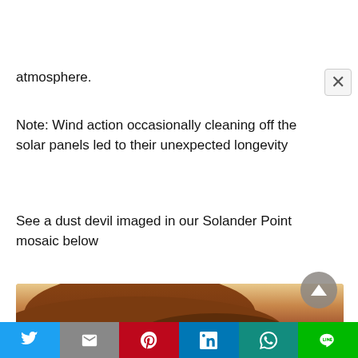atmosphere.
Note: Wind action occasionally cleaning off the solar panels led to their unexpected longevity
See a dust devil imaged in our Solander Point mosaic below
[Figure (photo): Photo of a Mars rover showing rocky terrain on Mars with sandy/dusty orange-brown surface and light orange sky]
Social share bar with Twitter, Gmail, Pinterest, LinkedIn, WhatsApp, LINE buttons